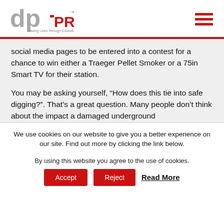dp-PRO — Saving Lives through Education
social media pages to be entered into a contest for a chance to win either a Traeger Pellet Smoker or a 75in Smart TV for their station.
You may be asking yourself, “How does this tie into safe digging?”. That’s a great question. Many people don’t think about the impact a damaged underground
We use cookies on our website to give you a better experience on our site. Find out more by clicking the link below.
By using this website you agree to the use of cookies.
Accept   Reject   Read More